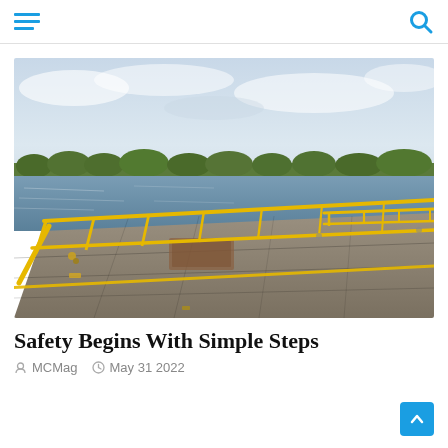Navigation menu and search icon header
[Figure (photo): Photograph of a barge deck viewed in perspective, showing yellow safety railings along the sides, a flat steel deck surface with hatch covers, calm river water visible on the left and ahead, and a treeline on the far bank under a partly cloudy sky.]
Safety Begins With Simple Steps
MCMag   May 31 2022